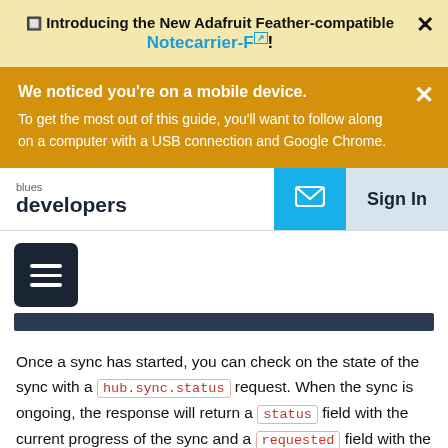🔲 Introducing the New Adafruit Feather-compatible Notecarrier-F!
We noticed you're on a mobile device. To get the most out of this guide, you'll want to follow along on a computer with a USB connection and Google Chrome.
blues developers | Sign In
Once a sync has started, you can check on the state of the sync with a hub.sync.status request. When the sync is ongoing, the response will return a status field with the current progress of the sync and a requested field with the number of records being the sync was initiated. Y...